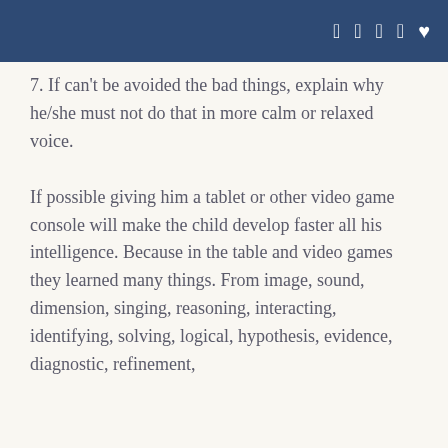f  ✓  ⊡  ⊕  ♥
7. If can't be avoided the bad things, explain why he/she must not do that in more calm or relaxed voice.
If possible giving him a tablet or other video game console will make the child develop faster all his intelligence. Because in the table and video games they learned many things. From image, sound, dimension, singing, reasoning, interacting, identifying, solving, logical, hypothesis, evidence, diagnostic, refinement,